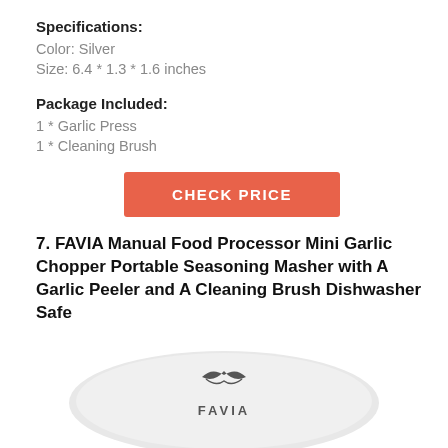Specifications:
Color: Silver
Size: 6.4 * 1.3 * 1.6 inches
Package Included:
1 * Garlic Press
1 * Cleaning Brush
[Figure (other): Orange CHECK PRICE button]
7. FAVIA Manual Food Processor Mini Garlic Chopper Portable Seasoning Masher with A Garlic Peeler and A Cleaning Brush Dishwasher Safe
[Figure (photo): Partial view of FAVIA branded product lid/top, silver oval shape with FAVIA logo]